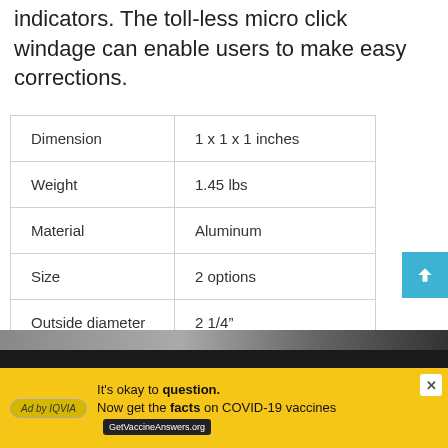indicators. The toll-less micro click windage can enable users to make easy corrections.
| Dimension | 1 x 1 x 1 inches |
| Weight | 1.45 lbs |
| Material | Aluminum |
| Size | 2 options |
| Outside diameter | 2 1/4" |
| Hand orientation | Left/Right |